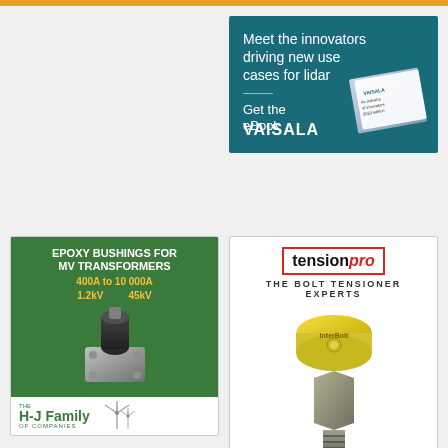[Figure (illustration): Pfeiffer Vacuum advertisement showing solar panels with text 'Good Looking and Smart!']
[Figure (illustration): Vaisala advertisement with teal background: 'Meet the innovators driving new use cases for lidar. Get the eBook. VAISALA']
[Figure (illustration): H-J Family of Companies advertisement with green background showing epoxy bushing hardware: 'EPOXY BUSHINGS FOR MV TRANSFORMERS 400A to 10 000A 1.2kV to 45kV']
[Figure (illustration): TensionPro advertisement showing bolt tensioner hardware: 'tensionpro THE BOLT TENSIONER EXPERTS']
[Figure (illustration): Black advertisement at bottom left]
[Figure (illustration): Bottom right advertisement showing wind turbines]